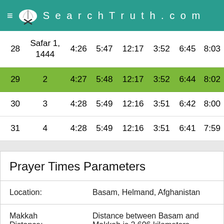SearchTruth.com
| Day | Date | Col3 | Col4 | Col5 | Col6 | Col7 | Col8 |
| --- | --- | --- | --- | --- | --- | --- | --- |
| 28 | Safar 1, 1444 | 4:26 | 5:47 | 12:17 | 3:52 | 6:45 | 8:03 |
| 29 | 2 | 4:27 | 5:48 | 12:17 | 3:52 | 6:44 | 8:02 |
| 30 | 3 | 4:28 | 5:49 | 12:16 | 3:51 | 6:42 | 8:00 |
| 31 | 4 | 4:28 | 5:49 | 12:16 | 3:51 | 6:41 | 7:59 |
Prayer Times Parameters
| Parameter | Value |
| --- | --- |
| Location: | Basam, Helmand, Afghanistan |
| Makkah Distance: | Distance between Basam and Makkah is 2,606 kilometers |
| Madina | Distance between Basam and Madina is |